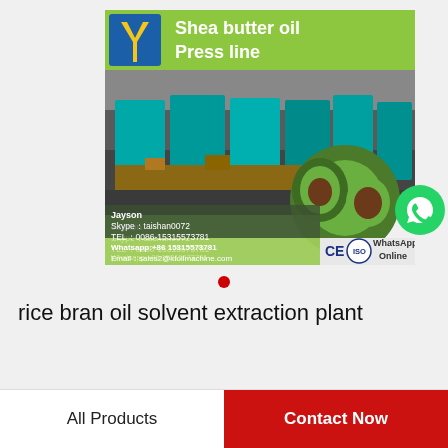[Figure (photo): Shea butter oil Press line product advertisement image showing industrial oil press machinery in a factory, avocados, contact details including Jayson, Skype: taishan0072, TEL: 0086-15315573781, Whatsapp: +86 15315573781, Email: sales2@ldoilmachine.com, CE and ISO logos, WhatsApp Online text, and a company logo.]
rice bran oil solvent extraction plant
All Products
Contact Now